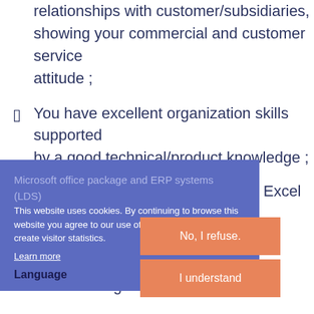relationships with customer/subsidiaries, showing your commercial and customer service attitude ;
You have excellent organization skills supported by a good technical/product knowledge ;
Excellent computer proficiency in Excel as well as Microsoft office package and ERP systems (LDS)
This website uses cookies. By continuing to browse this website you agree to our use of cookies in order to create visitor statistics.
Learn more
Language
No, I refuse.
I understand
Language knowledge (by order of importance): French / English / Dutch.